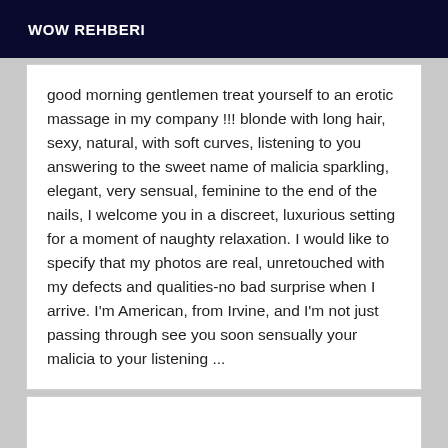WOW REHBERI
good morning gentlemen treat yourself to an erotic massage in my company !!! blonde with long hair, sexy, natural, with soft curves, listening to you answering to the sweet name of malicia sparkling, elegant, very sensual, feminine to the end of the nails, I welcome you in a discreet, luxurious setting for a moment of naughty relaxation. I would like to specify that my photos are real, unretouched with my defects and qualities-no bad surprise when I arrive. I'm American, from Irvine, and I'm not just passing through see you soon sensually your malicia to your listening ...